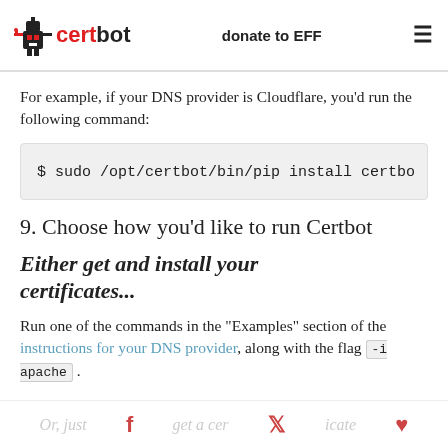certbot | donate to EFF
For example, if your DNS provider is Cloudflare, you'd run the following command:
9. Choose how you'd like to run Certbot
Either get and install your certificates...
Run one of the commands in the "Examples" section of the instructions for your DNS provider, along with the flag -i apache .
Or, just get a certificate